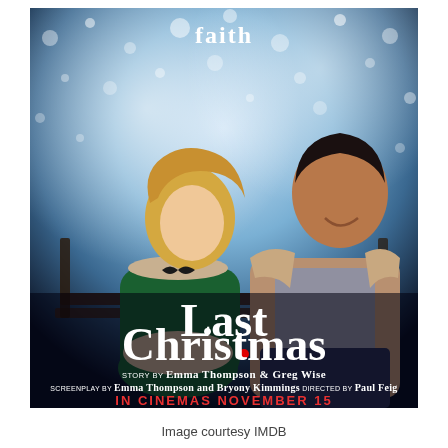[Figure (photo): Movie poster for 'Last Christmas' (2019 film). Two people — a woman in a green elf costume with fur trim and a man in a tan jacket — sit on a bench against a snowy bokeh background. Text at top reads 'faith'. Large white title 'Last Christmas' with a red heart dot. Credits: Story by Emma Thompson & Greg Wise, Screenplay by Emma Thompson and Bryony Kimmings, Directed by Paul Feig. Red text: IN CINEMAS NOVEMBER 15.]
Image courtesy IMDB